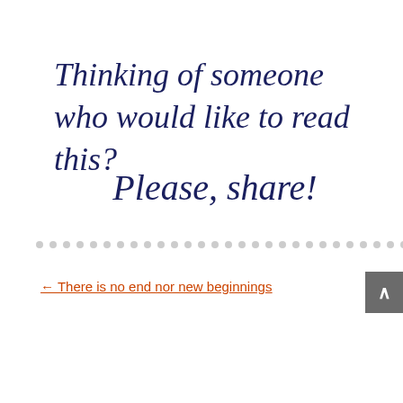Thinking of someone who would like to read this?
Please, share!
← There is no end nor new beginnings